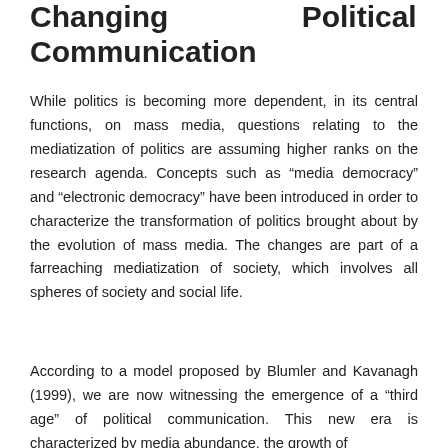Changing Political Communication
While politics is becoming more dependent, in its central functions, on mass media, questions relating to the mediatization of politics are assuming higher ranks on the research agenda. Concepts such as “media democracy” and “electronic democracy” have been introduced in order to characterize the transformation of politics brought about by the evolution of mass media. The changes are part of a farreaching mediatization of society, which involves all spheres of society and social life.
According to a model proposed by Blumler and Kavanagh (1999), we are now witnessing the emergence of a "third age" of political communication. This new era is characterized by media abundance, the growth of